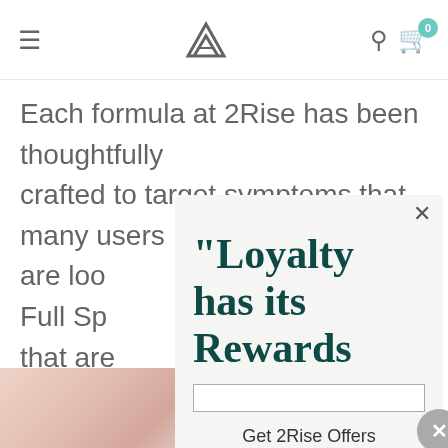2Rise — navigation bar with hamburger menu, logo, search and cart icons (cart badge: 0)
Each formula at 2Rise has been thoughtfully crafted to target symptoms that many users are loo[king for. Full Sp[ectrum...] that are[...] anxiety[...] users h[ave...] peacef[ul...] can aid[...]
[Figure (screenshot): Modal popup overlay on a website. Contains a close X button top-right, large bold serif heading '"Loyalty has its Rewards' in dark teal, 'Get 2Rise Offers' subtext, and a JOIN NOW button. A secondary circular close button with X appears at lower right of modal.]